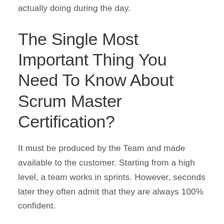actually doing during the day.
The Single Most Important Thing You Need To Know About Scrum Master Certification?
It must be produced by the Team and made available to the customer. Starting from a high level, a team works in sprints. However, seconds later they often admit that they are always 100% confident.
Often in classes and when coaching I conclude that Scrum Masters are expected to simply 'fill the gap'.